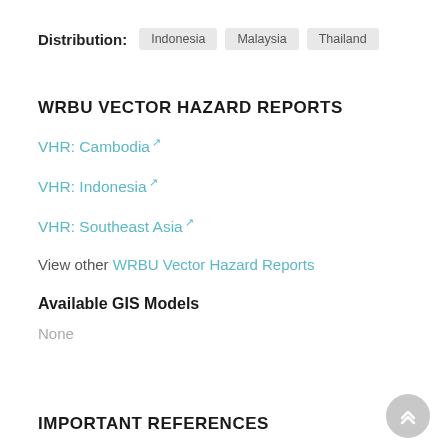Distribution: Indonesia  Malaysia  Thailand
WRBU VECTOR HAZARD REPORTS
VHR: Cambodia
VHR: Indonesia
VHR: Southeast Asia
View other WRBU Vector Hazard Reports
Available GIS Models
None
IMPORTANT REFERENCES